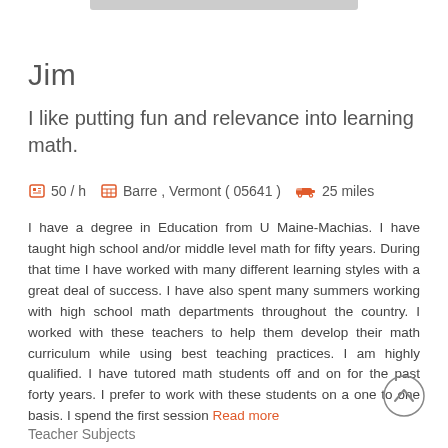[Figure (other): Gray top bar decorative element]
Jim
I like putting fun and relevance into learning math.
50/ h   Barre , Vermont ( 05641 )   25 miles
I have a degree in Education from U Maine-Machias. I have taught high school and/or middle level math for fifty years. During that time I have worked with many different learning styles with a great deal of success. I have also spent many summers working with high school math departments throughout the country. I worked with these teachers to help them develop their math curriculum while using best teaching practices. I am highly qualified. I have tutored math students off and on for the past forty years. I prefer to work with these students on a one to one basis. I spend the first session Read more
Teacher Subjects